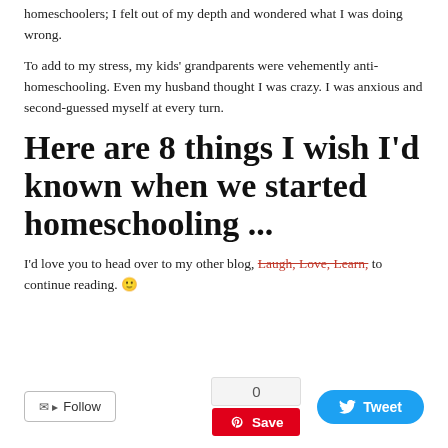homeschoolers; I felt out of my depth and wondered what I was doing wrong.
To add to my stress, my kids' grandparents were vehemently anti-homeschooling. Even my husband thought I was crazy. I was anxious and second-guessed myself at every turn.
Here are 8 things I wish I'd known when we started homeschooling ...
I'd love you to head over to my other blog, Laugh, Love, Learn, to continue reading. 🙂
[Figure (other): Social sharing buttons: Follow button (email/RSS), share count showing 0, Save button (Pinterest), and Tweet button (Twitter)]